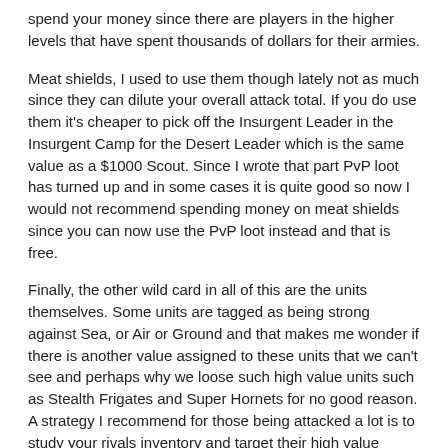spend your money since there are players in the higher levels that have spent thousands of dollars for their armies.
Meat shields, I used to use them though lately not as much since they can dilute your overall attack total. If you do use them it's cheaper to pick off the Insurgent Leader in the Insurgent Camp for the Desert Leader which is the same value as a $1000 Scout. Since I wrote that part PvP loot has turned up and in some cases it is quite good so now I would not recommend spending money on meat shields since you can now use the PvP loot instead and that is free.
Finally, the other wild card in all of this are the units themselves. Some units are tagged as being strong against Sea, or Air or Ground and that makes me wonder if there is another value assigned to these units that we can't see and perhaps why we loose such high value units such as Stealth Frigates and Super Hornets for no good reason. A strategy I recommend for those being attacked a lot is to study your rivals inventory and target their high value valour items.
Part #3 Originally posted 3/24/2012